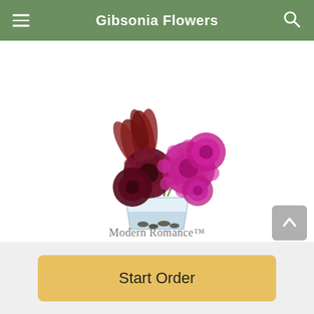Gibsonia Flowers
[Figure (photo): A floral arrangement called Modern Romance featuring dark burgundy and magenta chrysanthemums with dark red protea leaves in a clear glass vase]
Modern Romance™
Start Order